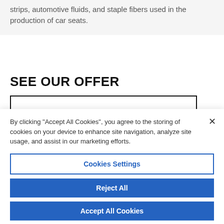strips, automotive fluids, and staple fibers used in the production of car seats.
SEE OUR OFFER
By clicking "Accept All Cookies", you agree to the storing of cookies on your device to enhance site navigation, analyze site usage, and assist in our marketing efforts.
Cookies Settings
Reject All
Accept All Cookies